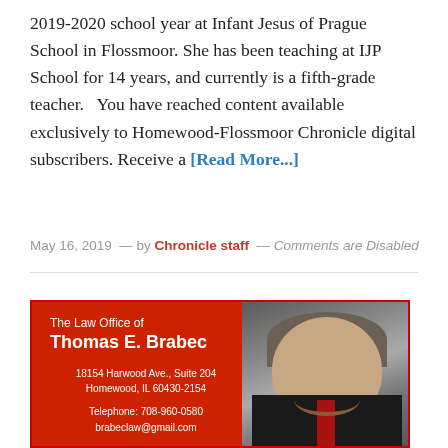2019-2020 school year at Infant Jesus of Prague School in Flossmoor. She has been teaching at IJP School for 14 years, and currently is a fifth-grade teacher.   You have reached content available exclusively to Homewood-Flossmoor Chronicle digital subscribers. Receive a [Read More...]
May 16, 2019  —  by Chronicle staff  —  Comments are Disabled
[Figure (other): Advertisement for The Law Office of Thomas E. Brabec. Red background with white text on left side showing law office name, address (18154 Harwood Ave., Suite 204, Homewood, IL 60430-2154), telephone (708-960-0580), and email (brabeclaw@gmail.com). Right side shows a photo of a smiling middle-aged man in a dark suit with red tie.]